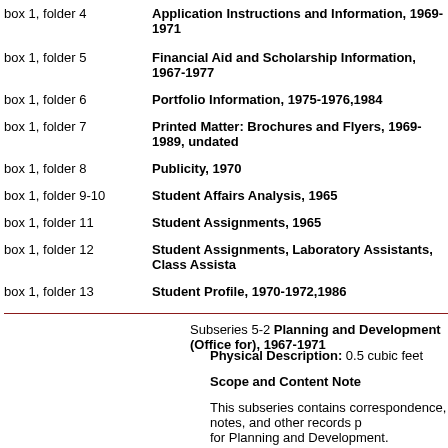box 1, folder 4 — Application Instructions and Information, 1969-1971
box 1, folder 5 — Financial Aid and Scholarship Information, 1967-1977
box 1, folder 6 — Portfolio Information, 1975-1976,1984
box 1, folder 7 — Printed Matter: Brochures and Flyers, 1969-1989, undated
box 1, folder 8 — Publicity, 1970
box 1, folder 9-10 — Student Affairs Analysis, 1965
box 1, folder 11 — Student Assignments, 1965
box 1, folder 12 — Student Assignments, Laboratory Assistants, Class Assistants
box 1, folder 13 — Student Profile, 1970-1972,1986
Subseries 5-2 Planning and Development (Office for), 1967-1971
Physical Description: 0.5 cubic feet
Scope and Content Note
This subseries contains correspondence, notes, and other records p for Planning and Development.